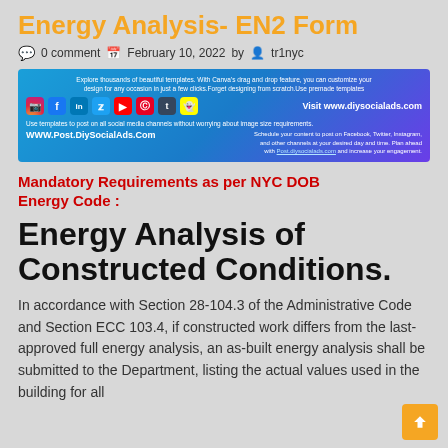Energy Analysis- EN2 Form
0 comment  February 10, 2022  by tr1nyc
[Figure (infographic): Advertisement banner for DIYSocialAds.com featuring social media icons (Instagram, Facebook, LinkedIn, Twitter, YouTube, Pinterest, Tumblr, Snapchat) and text about templates and social media scheduling.]
Mandatory Requirements as per NYC DOB Energy Code :
Energy Analysis of Constructed Conditions.
In accordance with Section 28-104.3 of the Administrative Code and Section ECC 103.4, if constructed work differs from the last-approved full energy analysis, an as-built energy analysis shall be submitted to the Department, listing the actual values used in the building for all